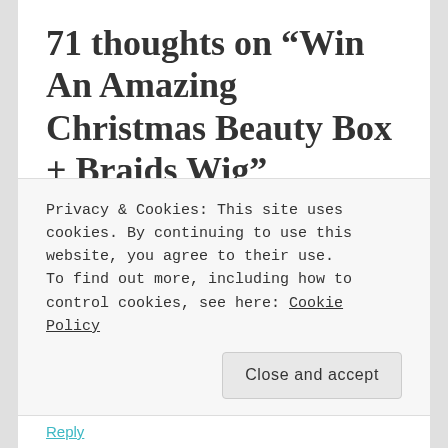71 thoughts on “Win An Amazing Christmas Beauty Box + Braids Wig”
Pingback: My Top 5 Leave-in Conditioners For Natural Hair
BADEWA
December 20, 2016 at 6:16 pm
Privacy & Cookies: This site uses cookies. By continuing to use this website, you agree to their use.
To find out more, including how to control cookies, see here: Cookie Policy
Close and accept
Reply